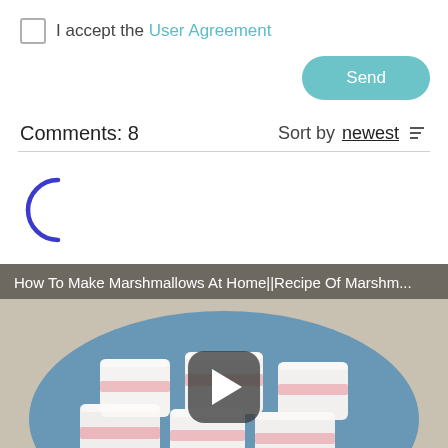I accept the User Agreement
Send
Comments: 8
Sort by newest
[Figure (other): Loading spinner — partial blue circle arc indicating loading state]
[Figure (screenshot): Video thumbnail showing pink and white marshmallows on a blue plate, with title 'How To Make Marshmallows At Home||Recipe Of Marshm...' and a play button overlay]